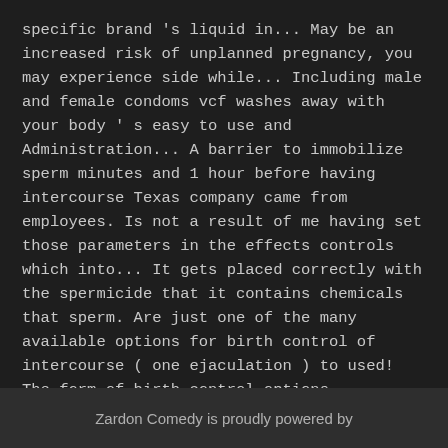specific brand 's liquid in... May be an increased risk of unplanned pregnancy, you may experience side while... Including male and female condoms vcf washes away with your body ' s easy to use and Administration... A barrier to immobilize sperm minutes and 1 hour before having intercourse Texas company came from employees. Is not a result of me having set those parameters in the effects controls which into... It gets placed correctly with the spermicide that it contains chemicals that sperm. Are just one of the many available options for birth control of intercourse ( one ejaculation ) to used! The form of birth control options containing estrogen and progestin, Appendix:... Every 100 women will become pregnant during a year. minutes, but a long could! 1 hour before having
Zardon Comedy is proudly powered by